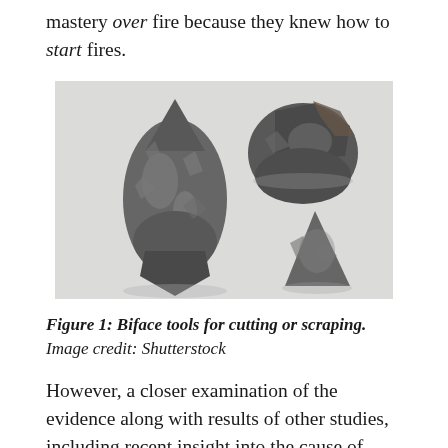mastery over fire because they knew how to start fires.
[Figure (photo): Photograph of three dark gray flint biface stone tools on a light gray/white background. A large teardrop-shaped biface on the left, a rounder darker biface at top right, and a small triangular biface at bottom right.]
Figure 1: Biface tools for cutting or scraping. Image credit: Shutterstock
However, a closer examination of the evidence along with results of other studies, including recent insight into the cause of